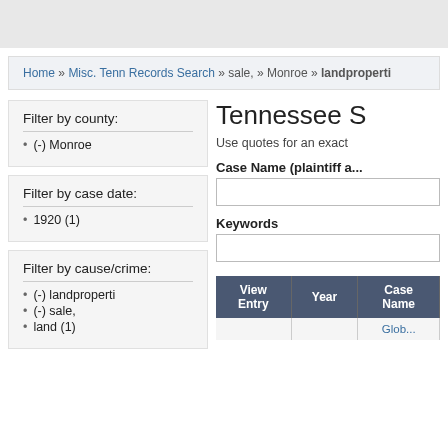Home » Misc. Tenn Records Search » sale, » Monroe » landproperti
Filter by county:
(-) Monroe
Filter by case date:
1920 (1)
Filter by cause/crime:
(-) landproperti
(-) sale,
land (1)
Tennessee S
Use quotes for an exact
Case Name (plaintiff a...
Keywords
| View Entry | Year | Case Name |
| --- | --- | --- |
|  |  | Glob... |